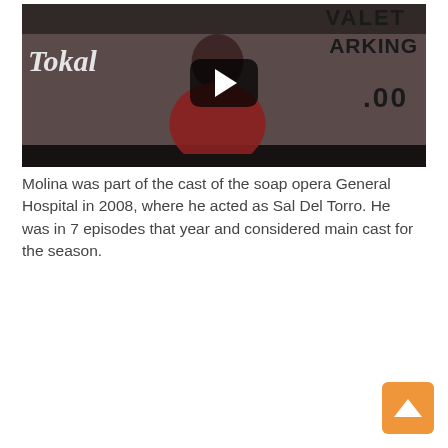[Figure (screenshot): A video thumbnail showing a person in a red shirt standing in front of signs reading 'VALET PARKING' with a YouTube-style play button overlay in the center.]
Molina was part of the cast of the soap opera General Hospital in 2008, where he acted as Sal Del Torro. He was in 7 episodes that year and considered main cast for the season.